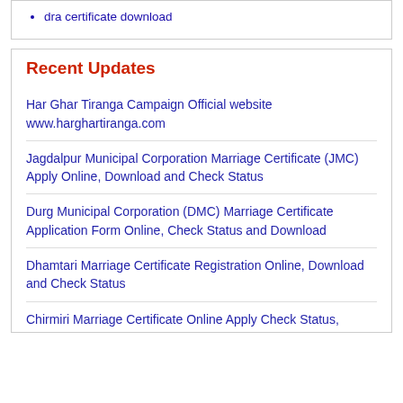dra certificate download
Recent Updates
Har Ghar Tiranga Campaign Official website www.harghartiranga.com
Jagdalpur Municipal Corporation Marriage Certificate (JMC) Apply Online, Download and Check Status
Durg Municipal Corporation (DMC) Marriage Certificate Application Form Online, Check Status and Download
Dhamtari Marriage Certificate Registration Online, Download and Check Status
Chirmiri Marriage Certificate Online Apply Check Status,